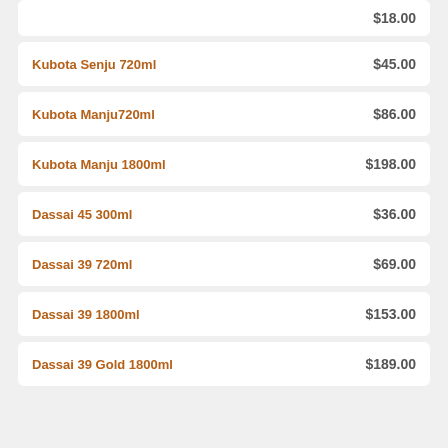$18.00
Kubota Senju 720ml — $45.00
Kubota Manju720ml — $86.00
Kubota Manju 1800ml — $198.00
Dassai 45 300ml — $36.00
Dassai 39 720ml — $69.00
Dassai 39 1800ml — $153.00
Dassai 39 Gold 1800ml — $189.00